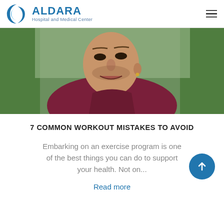ALDARA Hospital and Medical Center
[Figure (photo): Close-up photo of a middle-aged bald man in a maroon athletic shirt, leaning forward outdoors with trees in the background, appearing to be catching his breath after exercise.]
7 COMMON WORKOUT MISTAKES TO AVOID
Embarking on an exercise program is one of the best things you can do to support your health. Not on...
Read more